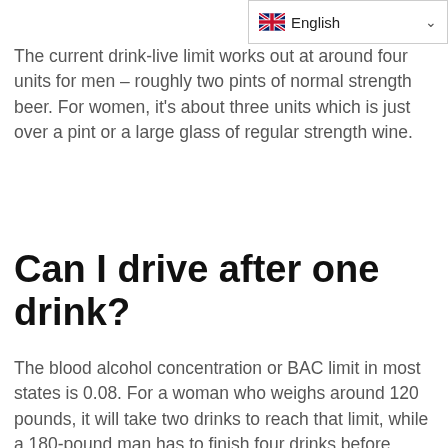[Figure (other): Language selector widget showing UK flag and 'English' label with dropdown chevron]
The current drink-live limit works out at around four units for men – roughly two pints of normal strength beer. For women, it's about three units which is just over a pint or a large glass of regular strength wine.
Can I drive after one drink?
The blood alcohol concentration or BAC limit in most states is 0.08. For a woman who weighs around 120 pounds, it will take two drinks to reach that limit, while a 180-pound man has to finish four drinks before getting to 0.08. It's safe to say then that one drink won't get you to the